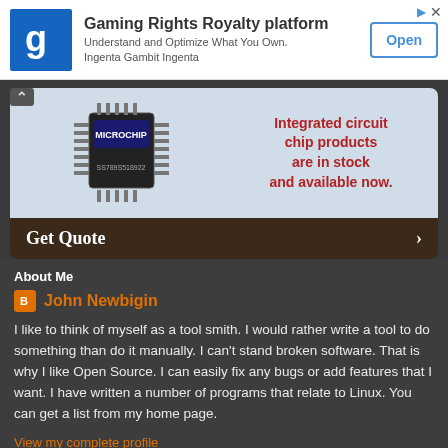[Figure (screenshot): Ad banner for Gaming Rights Royalty platform with logo, text, and Open button]
[Figure (screenshot): Microchip integrated circuit advertisement with chip image and Get Quote button]
About Me
John Newbigin
I like to think of myself as a tool smith. I would rather write a tool to do something than do it manually. I can't stand broken software. That is why I like Open Source. I can easily fix any bugs or add features that I want. I have written a number of programs that relate to Linux. You can get a list from my home page.
View my complete profile
Powered by Blogger.